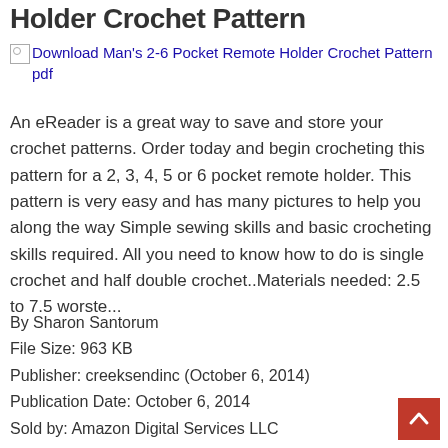Holder Crochet Pattern
[Figure (other): Broken image placeholder for: Download Man's 2-6 Pocket Remote Holder Crochet Pattern pdf]
An eReader is a great way to save and store your crochet patterns. Order today and begin crocheting this pattern for a 2, 3, 4, 5 or 6 pocket remote holder. This pattern is very easy and has many pictures to help you along the way Simple sewing skills and basic crocheting skills required. All you need to know how to do is single crochet and half double crochet..Materials needed: 2.5 to 7.5 worste...
By Sharon Santorum
File Size: 963 KB
Publisher: creeksendinc (October 6, 2014)
Publication Date: October 6, 2014
Sold by: Amazon Digital Services LLC
Language: English